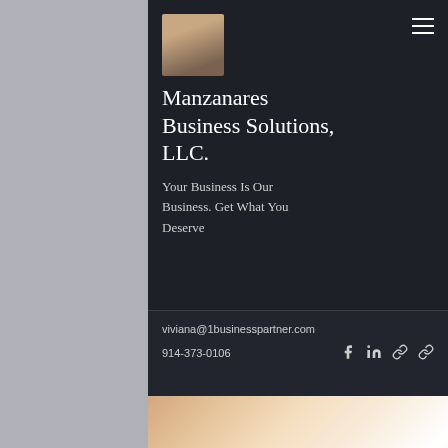Manzanares Business Solutions, LLC.
Your Business Is Our Business. Get What You Deserve
viviana@1businesspartner.com
914-373-0106
[Figure (photo): A blurred close-up photo of a handshake, with warm orange and white tones, suggesting a business partnership or agreement.]